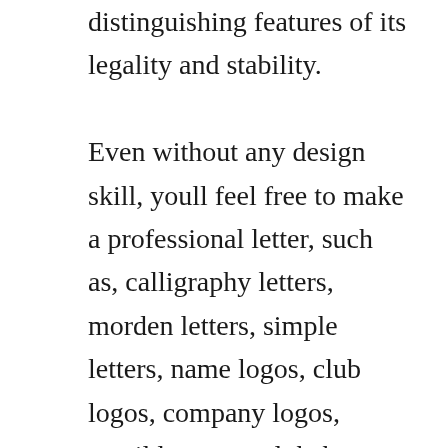distinguishing features of its legality and stability.

Even without any design skill, youll feel free to make a professional letter, such as, calligraphy letters, morden letters, simple letters, name logos, club logos, company logos, email logos, or alphabet logo in versatile designs. When you decide to design your office stationary, youll want to look through several letterhead samples online to get a feel for which designs you find most appealing. Simply pick a color scheme and design style to match your business, then use